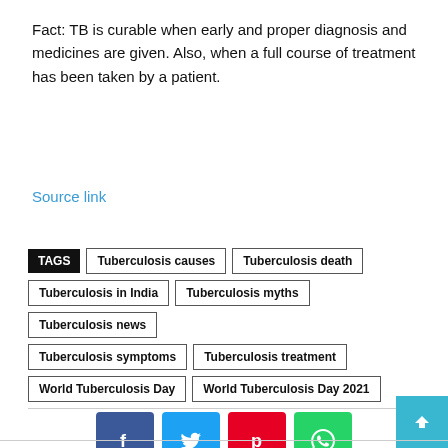Fact: TB is curable when early and proper diagnosis and medicines are given. Also, when a full course of treatment has been taken by a patient.
Source link
TAGS: Tuberculosis causes | Tuberculosis death | Tuberculosis in India | Tuberculosis myths | Tuberculosis news | Tuberculosis symptoms | Tuberculosis treatment | World Tuberculosis Day | World Tuberculosis Day 2021
[Figure (infographic): Social media share buttons: Facebook (blue), Twitter (cyan), Pinterest (red), WhatsApp (green)]